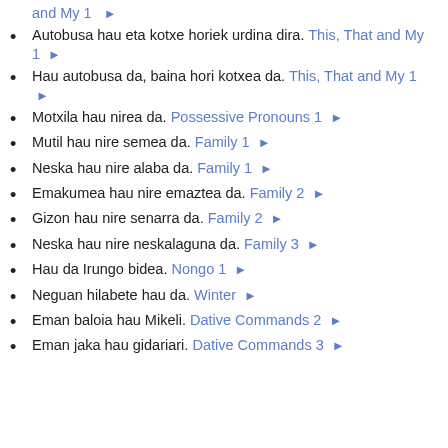and My 1 🔊 (partial, top of page)
Autobusa hau eta kotxe horiek urdina dira. This, That and My 1 🔊
Hau autobusa da, baina hori kotxea da. This, That and My 1 🔊
Motxila hau nirea da. Possessive Pronouns 1 🔊
Mutil hau nire semea da. Family 1 🔊
Neska hau nire alaba da. Family 1 🔊
Emakumea hau nire emaztea da. Family 2 🔊
Gizon hau nire senarra da. Family 2 🔊
Neska hau nire neskalaguna da. Family 3 🔊
Hau da Irungo bidea. Nongo 1 🔊
Neguan hilabete hau da. Winter 🔊
Eman baloia hau Mikeli. Dative Commands 2 🔊
Eman jaka hau gidariari. Dative Commands 3 🔊